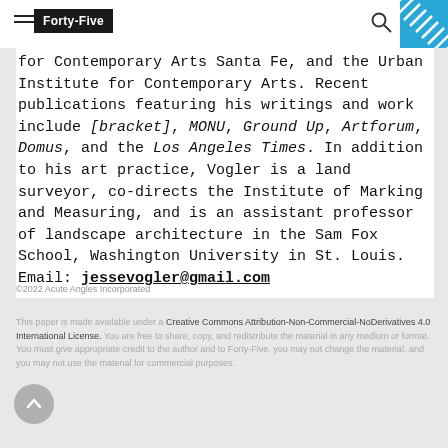Forty-Five
for Contemporary Arts Santa Fe, and the Urban Institute for Contemporary Arts. Recent publications featuring his writings and work include [bracket], MONU, Ground Up, Artforum, Domus, and the Los Angeles Times. In addition to his art practice, Vogler is a land surveyor, co-directs the Institute of Marking and Measuring, and is an assistant professor of landscape architecture in the Sam Fox School, Washington University in St. Louis. Email: jessevogler@gmail.com
©2022 Acute Angles Incorporated
This paper is made available under a Creative Commons Attribution-Non-Commercial-NoDerivatives 4.0 International License. You are free to share, copy, and redistribute the material in any medium or format. You must give appropriate credit to the author and to Forty-Five, you may not change the material, and you may not use the material for commercial purposes.